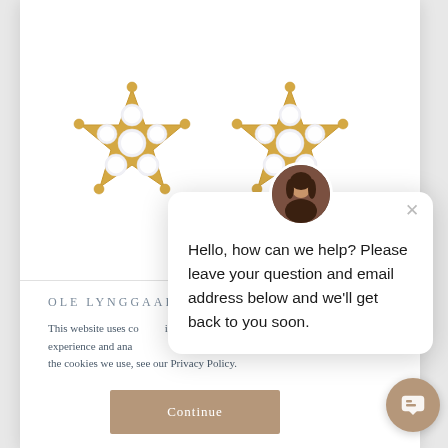[Figure (photo): Two gold star-shaped diamond stud earrings on white background]
OLE LYNGGAAR
This website uses cookies in order to improve and customize your experience and analyze. To find out more about the cookies we use, see our Privacy Policy.
[Figure (screenshot): Chat popup with avatar: Hello, how can we help? Please leave your question and email address below and we'll get back to you soon.]
Continue